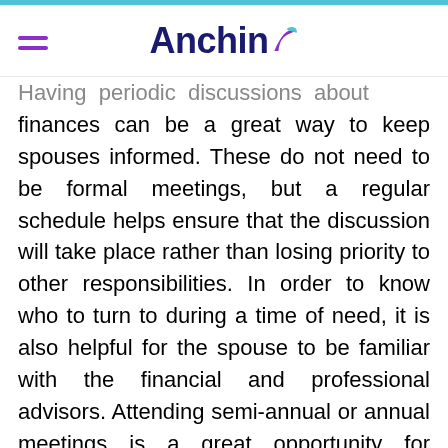Anchin
Having periodic discussions about finances can be a great way to keep spouses informed. These do not need to be formal meetings, but a regular schedule helps ensure that the discussion will take place rather than losing priority to other responsibilities. In order to know who to turn to during a time of need, it is also helpful for the spouse to be familiar with the financial and professional advisors. Attending semi-annual or annual meetings is a great opportunity for advisors and spouses to get to know one another.